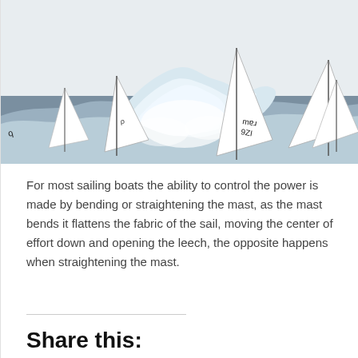[Figure (photo): Photograph of multiple small sailing dinghies (Optimist class) racing in rough seas with waves and white spray. The sails show numbers and text (126, and other markings). The boats are heeling dramatically in the wind.]
For most sailing boats the ability to control the power is made by bending or straightening the mast, as the mast bends it flattens the fabric of the sail, moving the center of effort down and opening the leech, the opposite happens when straightening the mast.
Share this: